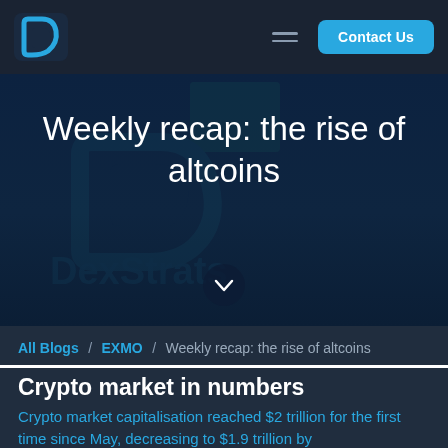[Figure (logo): DexStrats logo - stylized D icon in blue/cyan on dark navy navbar]
[Figure (illustration): Hero banner with dark navy background, large DexStrats watermark logo, title text 'Weekly recap: the rise of altcoins' in white, chevron down icon in circle]
Weekly recap: the rise of altcoins
All Blogs / EXMO / Weekly recap: the rise of altcoins
Crypto market in numbers
Crypto market capitalisation reached $2 trillion for the first time since May, decreasing to $1.9 trillion by